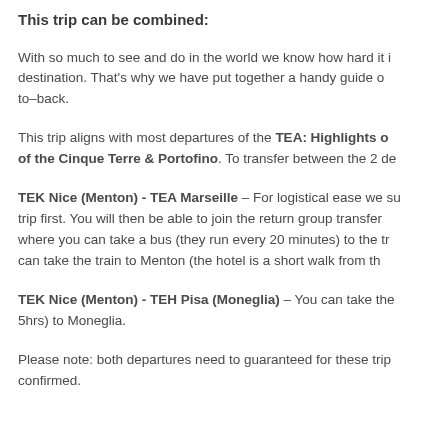This trip can be combined:
With so much to see and do in the world we know how hard it is to choose just one destination. That's why we have put together a handy guide of trips that can be done back-to-back.
This trip aligns with most departures of the TEA: Highlights of the Cinque Terre & Portofino. To transfer between the 2 de…
TEK Nice (Menton) - TEA Marseille – For logistical ease we suggest doing this trip first. You will then be able to join the return group transfer to Nice station where you can take a bus (they run every 20 minutes) to the tr… can take the train to Menton (the hotel is a short walk from th…
TEK Nice (Menton) - TEH Pisa (Moneglia) – You can take the … 5hrs) to Moneglia.
Please note: both departures need to guaranteed for these trip… confirmed.